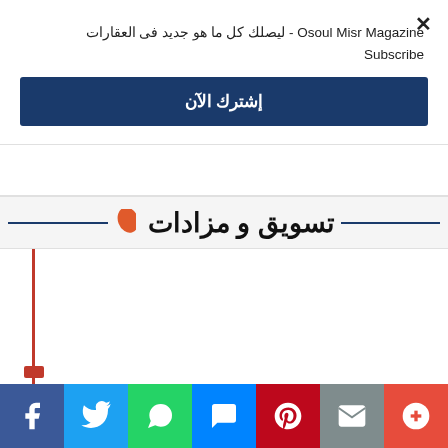Osoul Misr Magazine - ليصلك كل ما هو جديد فى العقارات Subscribe
إشترك الآن
تسويق و مزادات
[Figure (continuous-plot): Partial chart with vertical and horizontal red lines visible at the bottom-left of the content area]
Social share buttons: Facebook, Twitter, WhatsApp, Messenger, Pinterest, Email, More